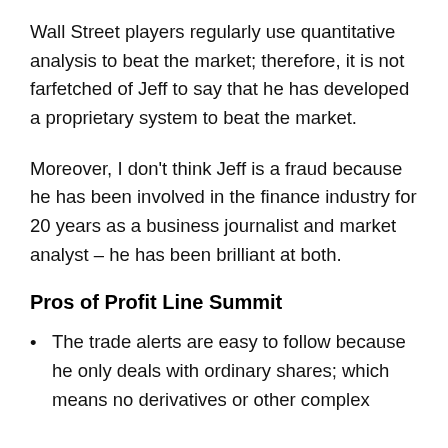Wall Street players regularly use quantitative analysis to beat the market; therefore, it is not farfetched of Jeff to say that he has developed a proprietary system to beat the market.
Moreover, I don't think Jeff is a fraud because he has been involved in the finance industry for 20 years as a business journalist and market analyst – he has been brilliant at both.
Pros of Profit Line Summit
The trade alerts are easy to follow because he only deals with ordinary shares; which means no derivatives or other complex